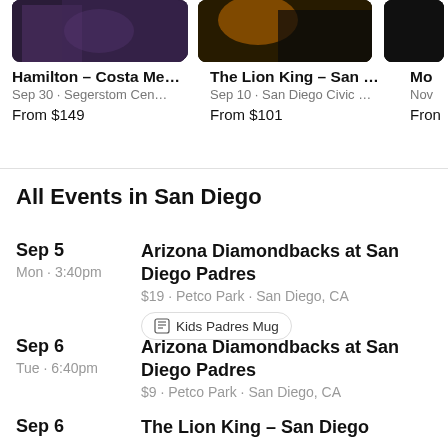[Figure (photo): Card image for Hamilton - Costa Mesa show, dark purple toned photo]
Hamilton - Costa Me...
Sep 30 · Segerstom Cen...
From $149
[Figure (photo): Card image for The Lion King - San Diego, dark orange toned photo]
The Lion King - San D...
Sep 10 · San Diego Civic ...
From $101
[Figure (photo): Partial card image, dark/black toned photo]
Mo
Nov
Fron
All Events in San Diego
Sep 5
Mon · 3:40pm
Arizona Diamondbacks at San Diego Padres
$19 · Petco Park · San Diego, CA
Kids Padres Mug
Sep 6
Tue · 6:40pm
Arizona Diamondbacks at San Diego Padres
$9 · Petco Park · San Diego, CA
Sep 6
The Lion King - San Diego